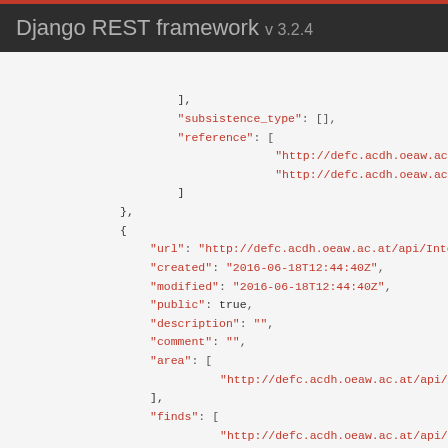Django REST framework v 3.2.4
JSON API response content showing fields: subsistence_type, reference, url, created, modified, public, description, comment, area, finds, production_type with their values